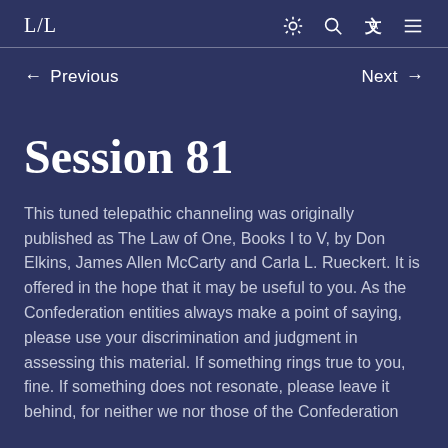L/L
← Previous    Next →
Session 81
This tuned telepathic channeling was originally published as The Law of One, Books I to V, by Don Elkins, James Allen McCarty and Carla L. Rueckert. It is offered in the hope that it may be useful to you. As the Confederation entities always make a point of saying, please use your discrimination and judgment in assessing this material. If something rings true to you, fine. If something does not resonate, please leave it behind, for neither we nor those of the Confederation